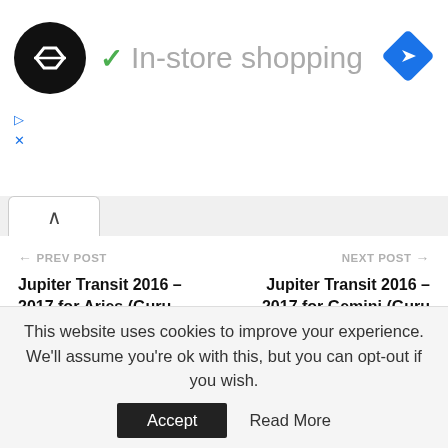[Figure (screenshot): Ad banner showing a black circular logo with double arrow symbol, checkmark, text 'In-store shopping', and a blue diamond navigation icon on the right. Small play and close icons below left.]
[Figure (screenshot): Browser tab indicator with up-arrow caret inside a white tab shape on grey background.]
← PREV POST
Jupiter Transit 2016 – 2017 for Aries (Guru Peyarchi Plalangal 2016 for Mesha Rasi)
NEXT POST →
Jupiter Transit 2016 – 2017 for Gemini (Guru Peyarchi Plalangal 2016 for Mithuna Rasi)
YOU MIGHT ALSO LIKE
[Figure (screenshot): Jupiter Transit category tag labels in orange.]
This website uses cookies to improve your experience. We'll assume you're ok with this, but you can opt-out if you wish.
Accept    Read More